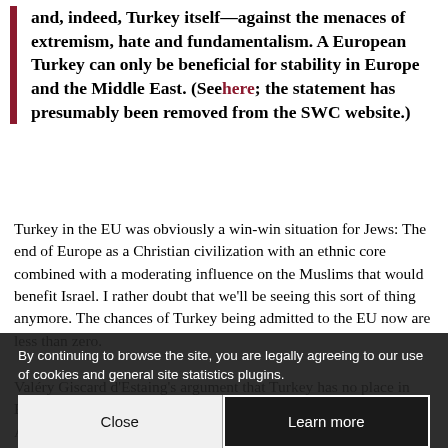and, indeed, Turkey itself—against the menaces of extremism, hate and fundamentalism. A European Turkey can only be beneficial for stability in Europe and the Middle East. (See here; the statement has presumably been removed from the SWC website.)
Turkey in the EU was obviously a win-win situation for Jews: The end of Europe as a Christian civilization with an ethnic core combined with a moderating influence on the Muslims that would benefit Israel. I rather doubt that we'll be seeing this sort of thing anymore. The chances of Turkey being admitted to the EU now are less than zero.
Valéry Giscard d'Estaing's argument that Turkey has no place in Europe is just as valid against admitting any Muslims to Europe. Although the rejection of Turkey doesn't change the present suicidal dynamic in Europe, it will certainly slow down the process and show what would have happened had Turkey been admitted, perhaps giving enough time for Europe to waken from its slumber.
By continuing to browse the site, you are legally agreeing to our use of cookies and general site statistics plugins.